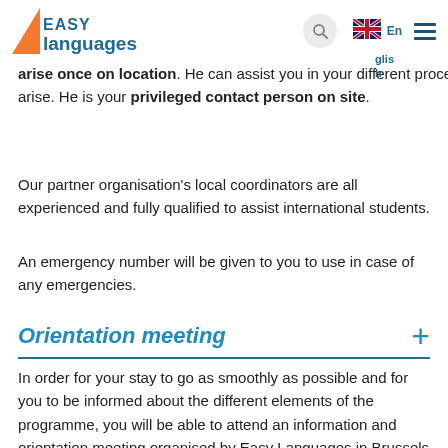Easy Languages — navigation header with logo, search, flag, and menu
arise once on location. He can assist you in your different procedures and is able to react quickly in the case a problem arise. He is your privileged contact person on site.
Our partner organisation's local coordinators are all experienced and fully qualified to assist international students.
An emergency number will be given to you to use in case of any emergencies.
Orientation meeting
In order for your stay to go as smoothly as possible and for you to be informed about the different elements of the programme, you will be able to attend an information and orientation meeting organised by Easy Languages in Brussels